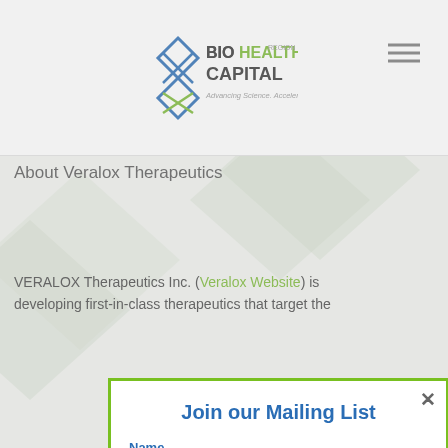[Figure (logo): BioHealth Capital Region logo with tagline 'Advancing Science. Accelerating Innovation.']
About Veralox Therapeutics
VERALOX Therapeutics Inc. (Veralox Website) is developing first-in-class therapeutics that target the
Join our Mailing List
Name
Email
Join